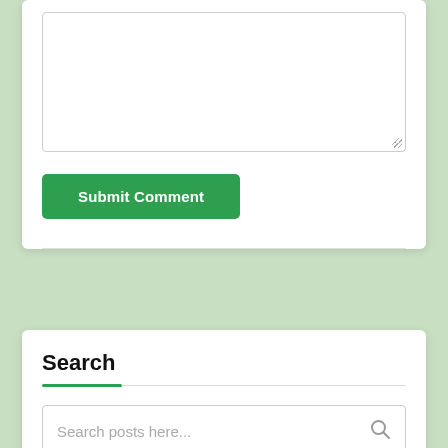[Figure (screenshot): A comment form textarea (white box with resize handle at bottom right corner)]
Submit Comment
Search
Search posts here...